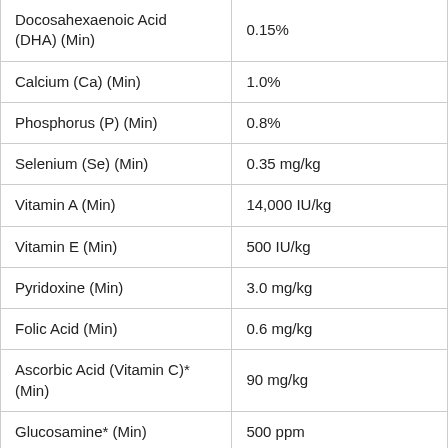| Nutrient | Amount |
| --- | --- |
| Docosahexaenoic Acid (DHA) (Min) | 0.15% |
| Calcium (Ca) (Min) | 1.0% |
| Phosphorus (P) (Min) | 0.8% |
| Selenium (Se) (Min) | 0.35 mg/kg |
| Vitamin A (Min) | 14,000 IU/kg |
| Vitamin E (Min) | 500 IU/kg |
| Pyridoxine (Min) | 3.0 mg/kg |
| Folic Acid (Min) | 0.6 mg/kg |
| Ascorbic Acid (Vitamin C)* (Min) | 90 mg/kg |
| Glucosamine* (Min) | 500 ppm |
| Omega-3 Fatty Acids* (Min) | 0.45% |